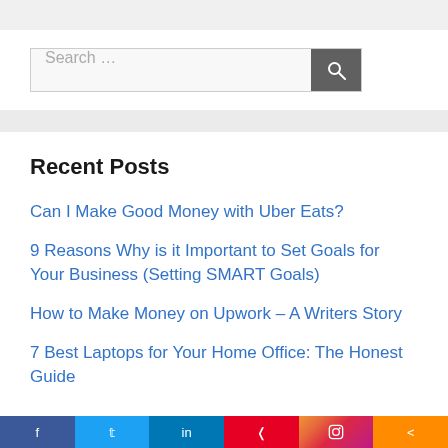Search …
Recent Posts
Can I Make Good Money with Uber Eats?
9 Reasons Why is it Important to Set Goals for Your Business (Setting SMART Goals)
How to Make Money on Upwork – A Writers Story
7 Best Laptops for Your Home Office: The Honest Guide
f  t  in  P  (instagram)  <